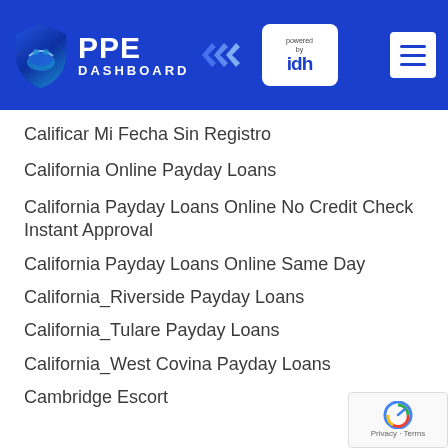PPE DASHBOARD powered by idh
Calificar Mi Fecha Sin Registro
California Online Payday Loans
California Payday Loans Online No Credit Check Instant Approval
California Payday Loans Online Same Day
California_Riverside Payday Loans
California_Tulare Payday Loans
California_West Covina Payday Loans
Cambridge Escort